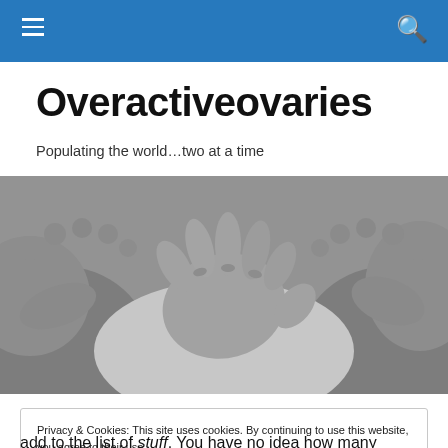Navigation header with hamburger menu and search icon
Overactiveovaries
Populating the world…two at a time
[Figure (photo): Black and white close-up photo of baby feet and hands]
Privacy & Cookies: This site uses cookies. By continuing to use this website, you agree to their use.
To find out more, including how to control cookies, see here: Cookie Policy
[Close and accept button]
add to the list of stuff. You have no idea how many